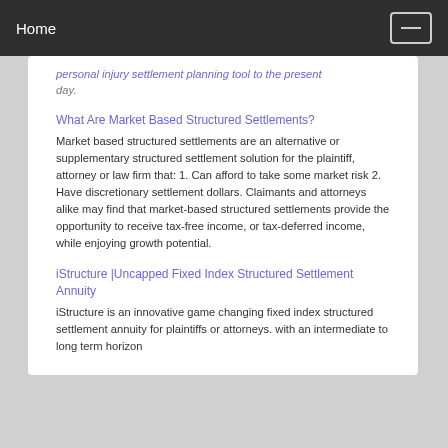Home
personal injury settlement planning tool to the present day.
What Are Market Based Structured Settlements?
Market based structured settlements are an alternative or supplementary structured settlement solution for the plaintiff, attorney or law firm that: 1. Can afford to take some market risk 2. Have discretionary settlement dollars. Claimants and attorneys alike may find that market-based structured settlements provide the opportunity to receive tax-free income, or tax-deferred income, while enjoying growth potential.
iStructure |Uncapped Fixed Index Structured Settlement Annuity
iStructure is an innovative game changing fixed index structured settlement annuity for plaintiffs or attorneys. with an intermediate to long term horizon